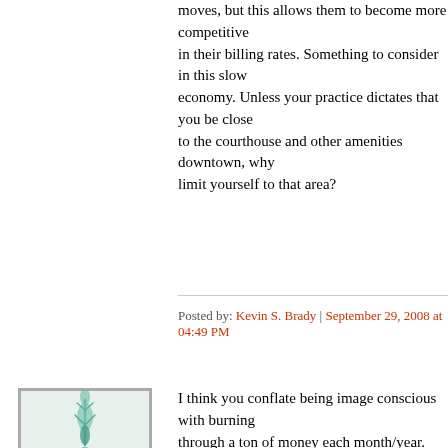moves, but this allows them to become more competitive in their billing rates. Something to consider in this slow economy. Unless your practice dictates that you be close to the courthouse and other amenities downtown, why limit yourself to that area?
Posted by: Kevin S. Brady | September 29, 2008 at 04:49 PM
[Figure (illustration): Avatar image showing a decorative circular/floral pattern in teal/green on a light background, framed with a thin border.]
I think you conflate being image conscious with burning through a ton of money each month/year.
As a solo attorney, I compete with older and richer firms in town. I cannot out compete them on advertising. I cannot out compete them on having a nicer office with a mountain view.
But I do strive to make a good first impression. I try to have a nice office. Check it out here http://www.flickr.com/photos/zstasiuk/2625420803/in/72157605904253054/